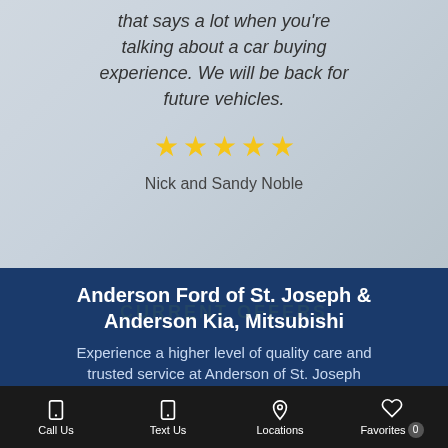that says a lot when you're talking about a car buying experience. We will be back for future vehicles.
[Figure (other): 5 gold star rating icons]
Nick and Sandy Noble
Anderson Ford of St. Joseph & Anderson Kia, Mitsubishi
Experience a higher level of quality care and trusted service at Anderson of St. Joseph
Call Us   Text Us   Locations   Favorites 0